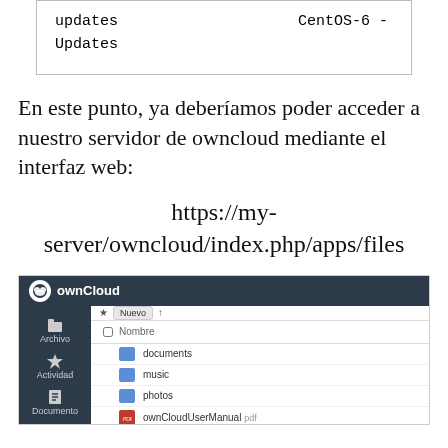| updates | CentOS-6 -
Updates |
En este punto, ya deberíamos poder acceder a nuestro servidor de owncloud mediante el interfaz web:
https://my-server/owncloud/index.php/apps/files
[Figure (screenshot): Screenshot of ownCloud web interface showing file browser with folders: documents, music, photos, and ownCloudUserManual file]